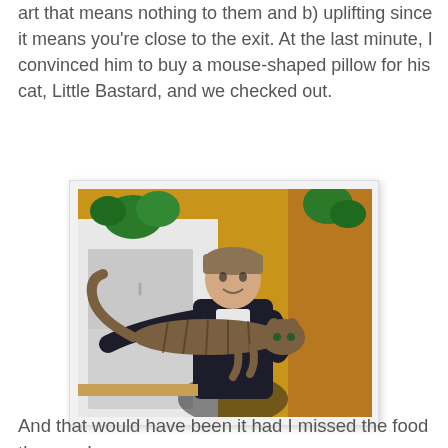art that means nothing to them and b) uplifting since it means you're close to the exit. At the last minute, I convinced him to buy a mouse-shaped pillow for his cat, Little Bastard, and we checked out.
[Figure (photo): A man wearing a beanie hat holding a large tabby cat (with legs stretched out) in front of a yellow wall with plants and a refrigerator.]
And that would have been it had I missed the food the way I did the other times I went to IKEA. This time, however, I noticed the mini Swedish grocery and I bought Swedish bread and that salmon paste that you squeeze out of what looks like a tube of toothpaste. And I bought meatballs.